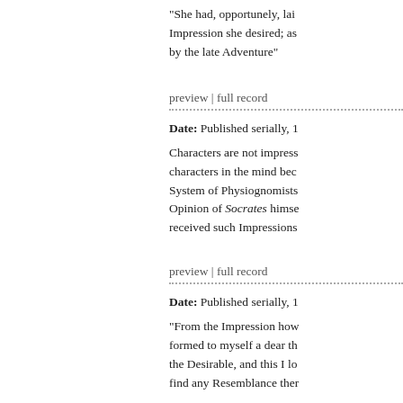"She had, opportunely, lai... Impression she desired; as... by the late Adventure"
preview | full record
Date: Published serially, 1...
Characters are not impress... characters in the mind bec... System of Physiognomists... Opinion of Socrates himse... received such Impressions...
preview | full record
Date: Published serially, 1...
"From the Impression how... formed to myself a dear th... the Desirable, and this I lo... find any Resemblance ther...